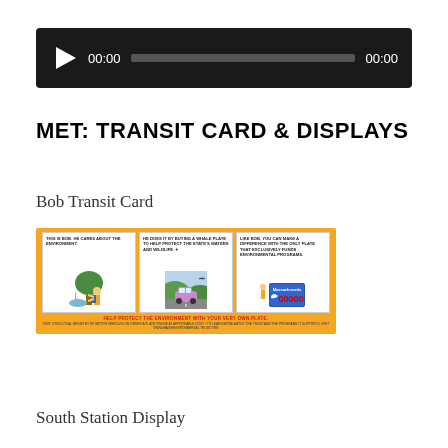[Figure (screenshot): Audio player bar with play button, time display showing 00:00 on both sides, and a progress bar on dark background]
MET: TRANSIT CARD & DISPLAYS
Bob Transit Card
[Figure (illustration): Bob Transit Card - orange background card with three panels showing cartoon character Bob hugging a tree, a car on a scenic road, and a Massachusetts environmental license plate. Footer text reads HELP PROTECT THE ENVIRONMENT WITH YOUR VERY OWN PLATE.]
South Station Display